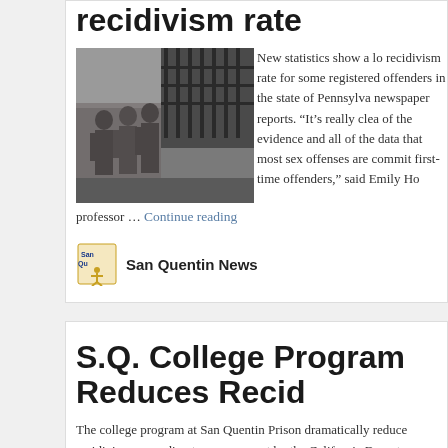recidivism rate
[Figure (photo): Black and white photo of prisoners standing near prison bars/gate]
New statistics show a lo recidivism rate for some registered offenders in the state of Pennsylva newspaper reports. “It’s really clea of the evidence and all of the data that most sex offenses are commit first-time offenders,” said Emily Ho professor … Continue reading
San Quentin News
S.Q. College Program Reduces Recid
The college program at San Quentin Prison dramatically reduce recidivism, according to a new report by the California Departme Corrections and Rehabilitation. In the first year of the study, the